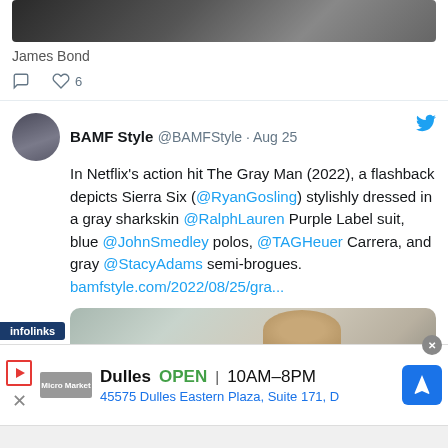[Figure (screenshot): Top portion of a previous tweet showing a dark image and the text 'James Bond' below it, with comment and heart (6 likes) action icons]
James Bond
6
BAMF Style @BAMFStyle · Aug 25
In Netflix's action hit The Gray Man (2022), a flashback depicts Sierra Six (@RyanGosling) stylishly dressed in a gray sharkskin @RalphLauren Purple Label suit, blue @JohnSmedley polos, @TAGHeuer Carrera, and gray @StacyAdams semi-brogues.
bamfstyle.com/2022/08/25/gra...
[Figure (photo): Photo of Ryan Gosling as Sierra Six in The Gray Man (2022), showing a man with a beard in a gray outfit]
infolinks
Dulles  OPEN | 10AM–8PM
45575 Dulles Eastern Plaza, Suite 171, D